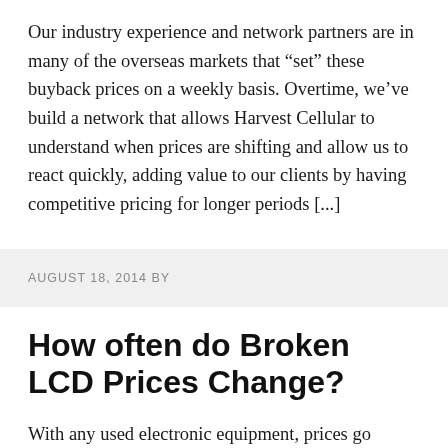Our industry experience and network partners are in many of the overseas markets that “set” these buyback prices on a weekly basis. Overtime, we’ve build a network that allows Harvest Cellular to understand when prices are shifting and allow us to react quickly, adding value to our clients by having competitive pricing for longer periods [...]
AUGUST 18, 2014 BY
How often do Broken LCD Prices Change?
With any used electronic equipment, prices go